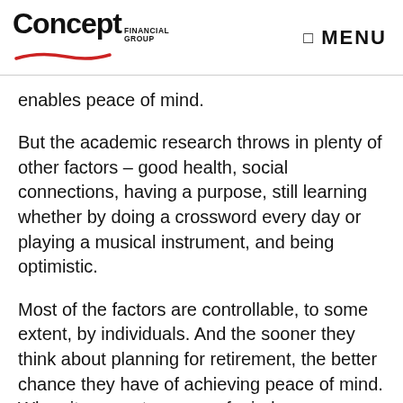Concept Financial Group | MENU
enables peace of mind.
But the academic research throws in plenty of other factors – good health, social connections, having a purpose, still learning whether by doing a crossword every day or playing a musical instrument, and being optimistic.
Most of the factors are controllable, to some extent, by individuals. And the sooner they think about planning for retirement, the better chance they have of achieving peace of mind. When it comes to peace of mind...